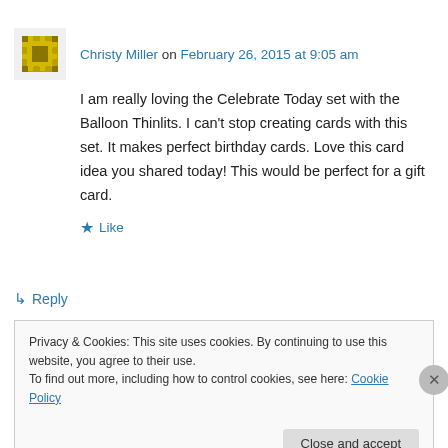Christy Miller on February 26, 2015 at 9:05 am
I am really loving the Celebrate Today set with the Balloon Thinlits. I can't stop creating cards with this set. It makes perfect birthday cards. Love this card idea you shared today! This would be perfect for a gift card.
Like
Reply
Privacy & Cookies: This site uses cookies. By continuing to use this website, you agree to their use. To find out more, including how to control cookies, see here: Cookie Policy
Close and accept